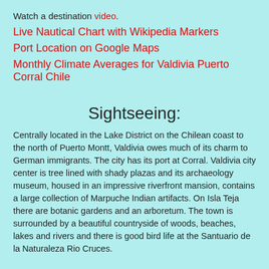Watch a destination video.
Live Nautical Chart with Wikipedia Markers
Port Location on Google Maps
Monthly Climate Averages for Valdivia Puerto Corral Chile
Sightseeing:
Centrally located in the Lake District on the Chilean coast to the north of Puerto Montt, Valdivia owes much of its charm to German immigrants. The city has its port at Corral. Valdivia city center is tree lined with shady plazas and its archaeology museum, housed in an impressive riverfront mansion, contains a large collection of Marpuche Indian artifacts. On Isla Teja there are botanic gardens and an arboretum. The town is surrounded by a beautiful countryside of woods, beaches, lakes and rivers and there is good bird life at the Santuario de la Naturaleza Rio Cruces.